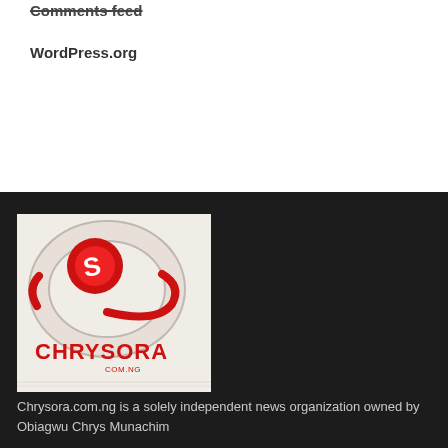Comments feed
WordPress.org
[Figure (logo): Chrysora.com.ng logo — a 3D stylized letter C in red and white with the text CHRYSORA.COM.NG in red below]
Chrysora.com.ng is a solely independent news organization owned by Obiagwu Chrys Munachim
We are non-partisan.
We are proud of what we report here because we don't attach any political, religious, or any form of criticisms to our reports
We aim at bringing to your door step undiluted and